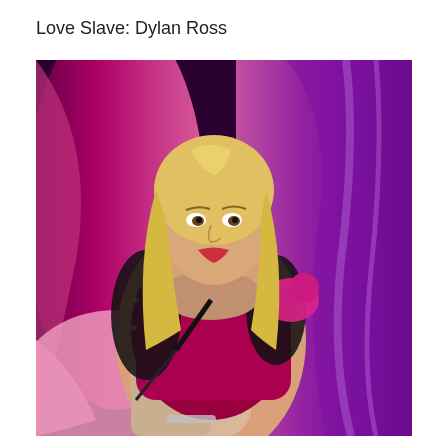Love Slave: Dylan Ross
[Figure (photo): A blonde woman wearing a dark red/magenta satin corset with black lace sleeves and pink satin gloves, posing in front of pink and purple draped curtain backdrop.]